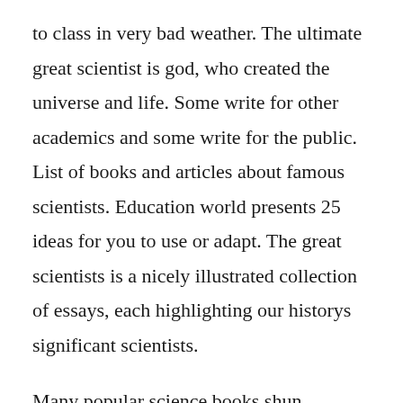to class in very bad weather. The ultimate great scientist is god, who created the universe and life. Some write for other academics and some write for the public. List of books and articles about famous scientists. Education world presents 25 ideas for you to use or adapt. The great scientists is a nicely illustrated collection of essays, each highlighting our historys significant scientists.
Many popular science books shun equations, partly due to overzealous editors who fear that the appearance of anything that looks like